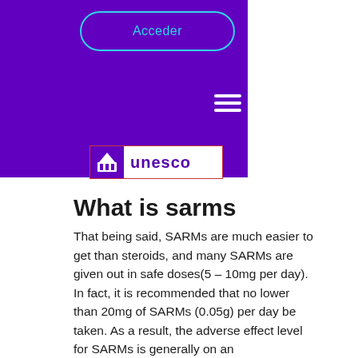[Figure (screenshot): Purple banner with 'Acceder' button outline in teal, hamburger menu icon in white at right, and UNESCO logo with white background at the bottom of the banner]
What is sarms
That being said, SARMs are much easier to get than steroids, and many SARMs are given out in safe doses(5 – 10mg per day). In fact, it is recommended that no lower than 20mg of SARMs (0.05g) per day be taken. As a result, the adverse effect level for SARMs is generally on an order of magnitude lower than that for